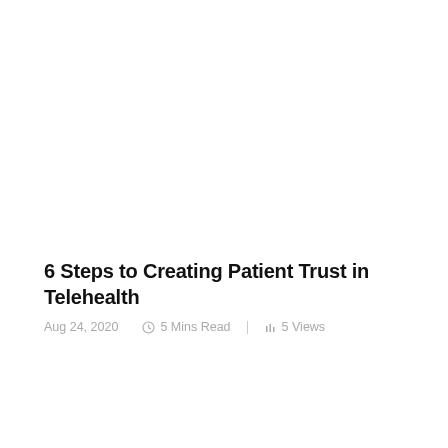6 Steps to Creating Patient Trust in Telehealth
Aug 24, 2020   5 Mins Read   5 Views